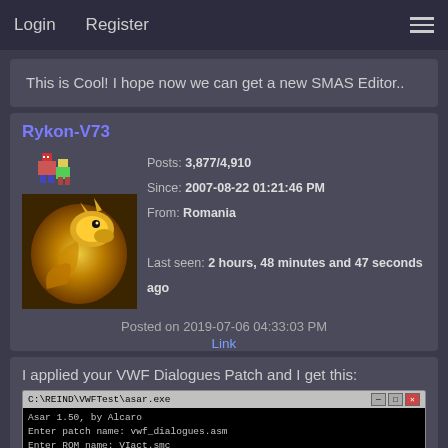Login   Register
This is Cool! I hope now we can get a new SMAS Editor..
Rykon-V73
Posts: 3,877/4,910
Since: 2007-08-22 01:21:46 PM
From: Romania
Last seen: 2 hours, 48 minutes and 47 seconds ago
Posted on 2019-07-06 04:33:03 PM
Link
I applied your VWF Dialogues Patch and I get this:
[Figure (screenshot): Command line window showing: C:\REIND\VWFTest\asar.exe running asar 1.50 by Alcaro, with errors including Couldn't open File, Define fuse_sal_mapping not found, and autoclean used in freespace]